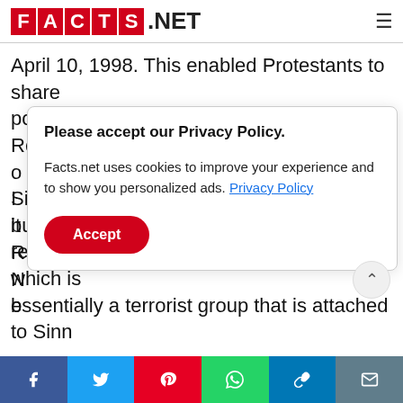FACTS.NET
April 10, 1998. This enabled Protestants to share political power with Catholics and gave the Republic of Ireland a role in...
Please accept our Privacy Policy. Facts.net uses cookies to improve your experience and to show you personalized ads. Privacy Policy
Sinn Fein (the group concerned with building a republic) was reluctant to disarm the IRA, which is essentially a terrorist group that is attached to Sinn